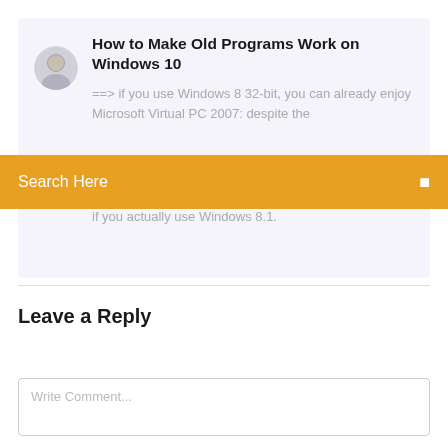How to Make Old Programs Work on Windows 10
==> if you use Windows 8 32-bit, you can already enjoy Microsoft Virtual PC 2007: despite the the reading to update some components, especially if you actually use Windows 8.1.
Search Here
Leave a Reply